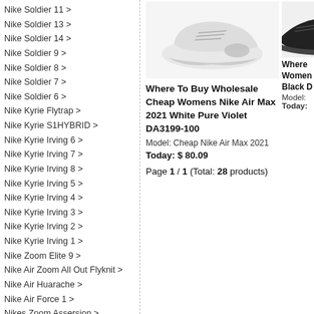Nike Soldier 11 >
Nike Soldier 13 >
Nike Soldier 14 >
Nike Soldier 9 >
Nike Soldier 8 >
Nike Soldier 7 >
Nike Soldier 6 >
Nike Kyrie Flytrap >
Nike Kyrie S1HYBRID >
Nike Kyrie Irving 6 >
Nike Kyrie Irving 7 >
Nike Kyrie Irving 8 >
Nike Kyrie Irving 5 >
Nike Kyrie Irving 4 >
Nike Kyrie Irving 3 >
Nike Kyrie Irving 2 >
Nike Kyrie Irving 1 >
Nike Zoom Elite 9 >
Nike Air Zoom All Out Flyknit >
Nike Air Huarache >
Nike Air Force 1 >
Nikes Zoom Assersion >
Nike Air Jordan 31 >
Nike Air Jordan 30 >
Nike Air Jordan Jumpman Team II >
Nike Air Jordan 36 >
Nike Air Jordan 35 >
[Figure (photo): White Nike Air Max 2021 sneaker shown in profile view against white background]
Where To Buy Wholesale Cheap Womens Nike Air Max 2021 White Pure Violet DA3199-100
Model: Cheap Nike Air Max 2021
Today: $ 80.09
Page 1 / 1 (Total: 28 products)
[Figure (photo): Partial view of dark Nike sneaker, cropped on right edge]
Where To Buy Wholesale Cheap Womens Nike
Black D
Model:
Today: